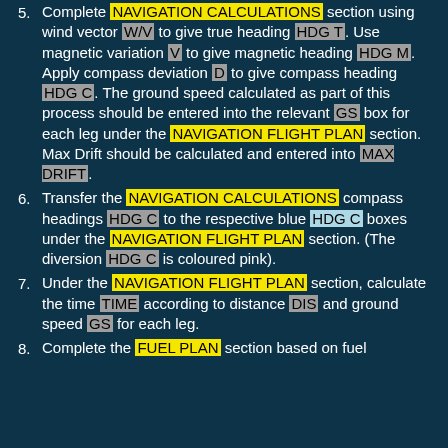5. Complete NAVIGATION CALCULATIONS section using wind vector W/V to give true heading HDG T. Use magnetic variation V to give magnetic heading HDG M. Apply compass deviation D to give compass heading HDG C. The ground speed calculated as part of this process should be entered into the relevant GS box for each leg under the NAVIGATION FLIGHT PLAN section. Max Drift should be calculated and entered into MAX DRIFT.
6. Transfer the NAVIGATION CALCULATIONS compass headings HDG C to the respective blue HDG C boxes under the NAVIGATION FLIGHT PLAN section. (The diversion HDG C is coloured pink).
7. Under the NAVIGATION FLIGHT PLAN section, calculate the time TIME according to distance DIS and ground speed GS for each leg.
8. Complete the FUEL PLAN section based on fuel